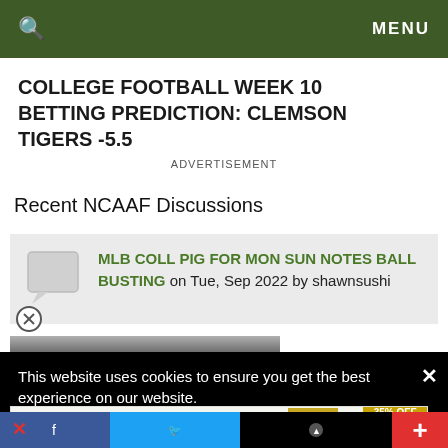🔍   MENU
COLLEGE FOOTBALL WEEK 10 BETTING PREDICTION: CLEMSON TIGERS -5.5
ADVERTISEMENT
Recent NCAAF Discussions
MLB COLL PIG FOR MON SUN NOTES BALL BUSTING on Tue, Sep 2022 by shawnsushi
This website uses cookies to ensure you get the best experience on our website.
[Figure (infographic): Advertisement banner for The perfect gift with 35% OFF + FREE SHIPPING]